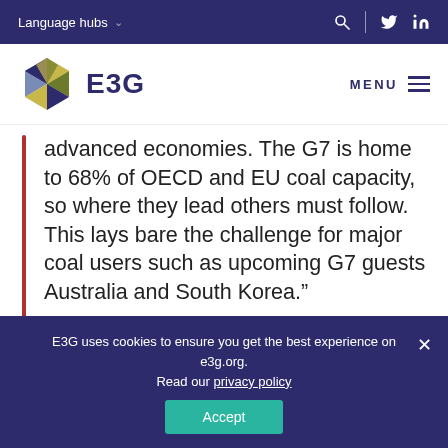Language hubs
[Figure (logo): E3G hexagonal logo with colorful triangular pattern, followed by text 'E3G']
advanced economies. The G7 is home to 68% of OECD and EU coal capacity, so where they lead others must follow. This lays bare the challenge for major coal users such as upcoming G7 guests Australia and South Korea.”
“G7 Climate and Environment ministers
E3G uses cookies to ensure you get the best experience on e3g.org. Read our privacy policy
Accept